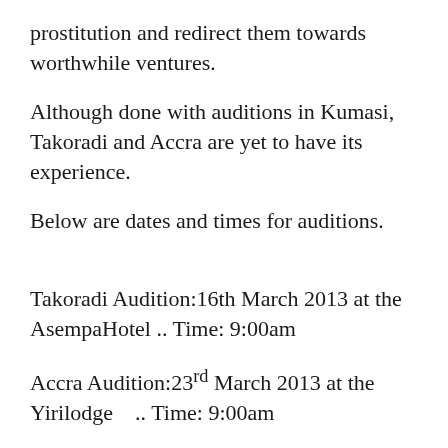prostitution and redirect them towards worthwhile ventures.
Although done with auditions in Kumasi, Takoradi and Accra are yet to have its experience.
Below are dates and times for auditions.
Takoradi Audition:16th March 2013 at the AsempaHotel .. Time: 9:00am
Accra Audition:23rd March 2013 at the Yirilodge   .. Time: 9:00am